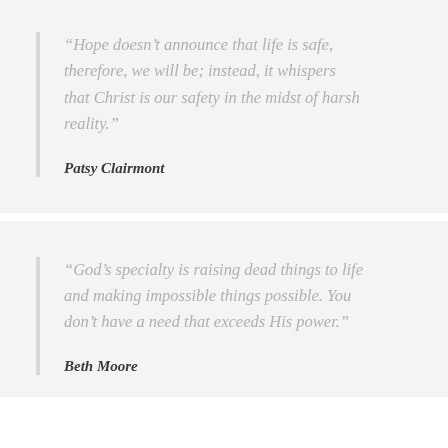“Hope doesn’t announce that life is safe, therefore, we will be; instead, it whispers that Christ is our safety in the midst of harsh reality.”
Patsy Clairmont
“God’s specialty is raising dead things to life and making impossible things possible. You don’t have a need that exceeds His power.”
Beth Moore